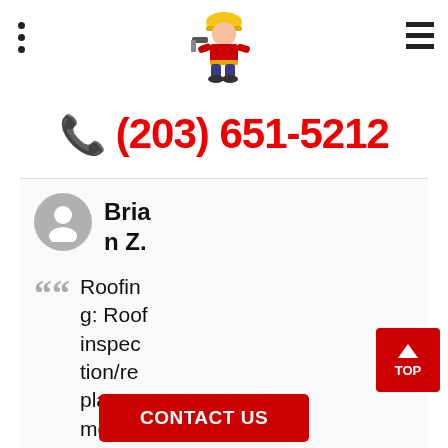Navigation header with logo (roofing contractor mascot), hamburger menu icons
(203) 651-5212
Brian Z.
Roofing: Roof inspection/replacement for a GAF Timberline HDZ asphalt roof
CONTACT US
TOP